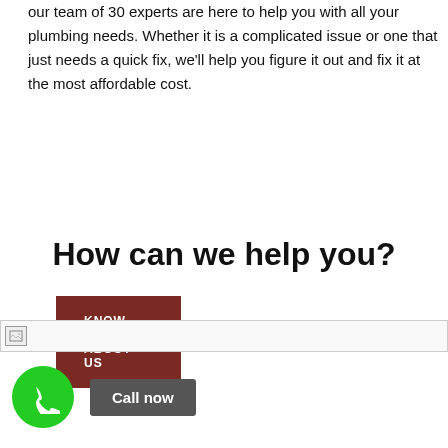our team of 30 experts are here to help you with all your plumbing needs. Whether it is a complicated issue or one that just needs a quick fix, we'll help you figure it out and fix it at the most affordable cost.
KNOW MORE ABOUT US ❯
How can we help you?
[Figure (other): Broken image placeholder bar]
[Figure (other): Green phone call icon circle and Call now button]